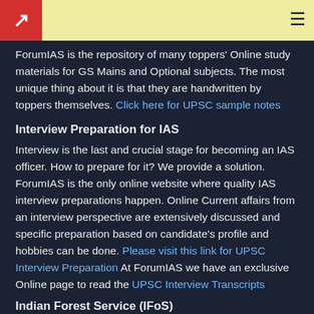ForumIAS logo and navigation
ForumIAS is the repository of many toppers' Online study materials for GS Mains and Optional subjects. The most unique thing about it is that they are handwritten by toppers themselves. Click here for UPSC sample notes
Interview Preparation for IAS
Interview is the last and crucial stage for becoming an IAS officer. How to prepare for it? We provide a solution. ForumIAS is the only online website where quality IAS interview preparations happen. Online Current affairs from an interview perspective are extensively discussed and specific preparation based on candidate's profile and hobbies can be done. Please visit this link for UPSC Interview Preparation At ForumIAS we have an exclusive Online page to read the UPSC Interview Transcripts
Indian Forest Service (IFoS)